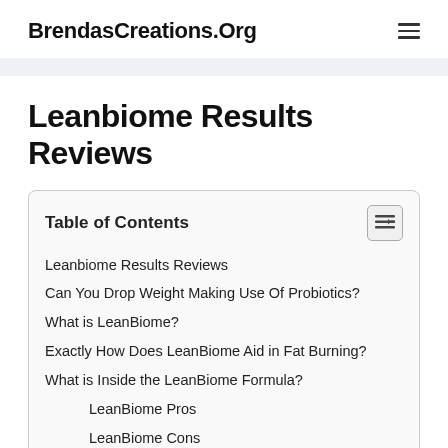BrendasCreations.Org
Leanbiome Results Reviews
| Table of Contents |
| --- |
| Leanbiome Results Reviews |
| Can You Drop Weight Making Use Of Probiotics? |
| What is LeanBiome? |
| Exactly How Does LeanBiome Aid in Fat Burning? |
| What is Inside the LeanBiome Formula? |
| LeanBiome Pros |
| LeanBiome Cons |
| Where to Buy LeanBiome? Is it Affordable? |
| LeanBiome Refund Policy |